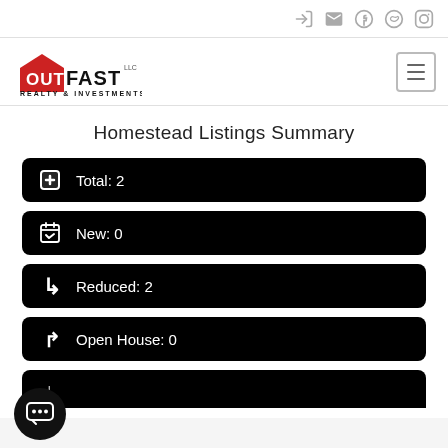Navigation icons: login, mail, facebook, twitter, instagram
[Figure (logo): OutFast Realty & Investments logo with red OUT box and black FAST text]
Homestead Listings Summary
Total: 2
New: 0
Reduced: 2
Open House: 0